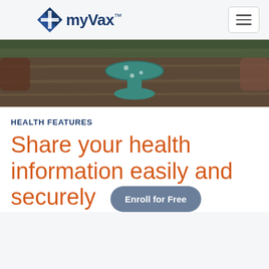myVax™
[Figure (photo): Partial view of people sitting around a wooden table with a teal ceramic cake stand in the center]
HEALTH FEATURES
Share your health information easily and securely
Enroll for Free